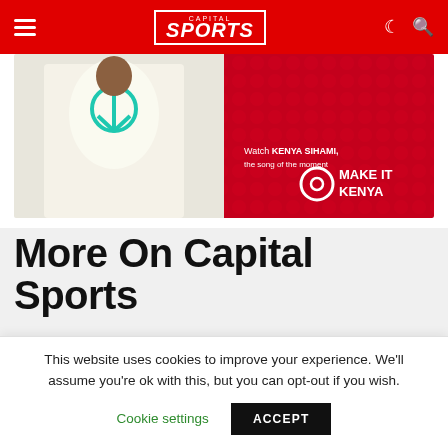Capital Sports
[Figure (photo): Advertisement banner for 'Make It Kenya' campaign featuring a person wearing a peace-symbol shirt. Text reads: Watch KENYA SIHAMI, the song of the moment. MAKE IT KENYA.]
More On Capital Sports
[Figure (photo): Football player in orange jersey running on the pitch during a UEFA Champions League match.]
DStv, GOtv Subscribers In For A Treat As UEFA Champions League Returns
This website uses cookies to improve your experience. We'll assume you're ok with this, but you can opt-out if you wish.
Cookie settings   ACCEPT